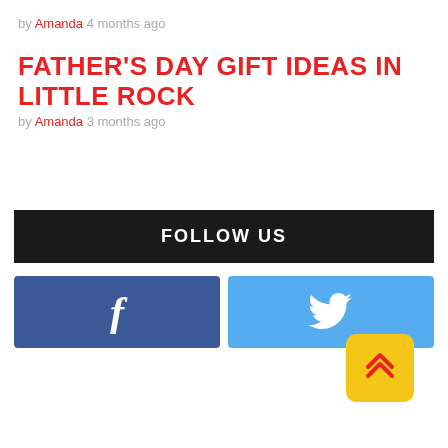by Amanda 4 months ago
FATHER'S DAY GIFT IDEAS IN LITTLE ROCK
by Amanda 3 months ago
FOLLOW US
[Figure (other): Facebook and Twitter follow buttons side by side]
[Figure (other): Yellow scroll-to-top button with double chevron up icon]